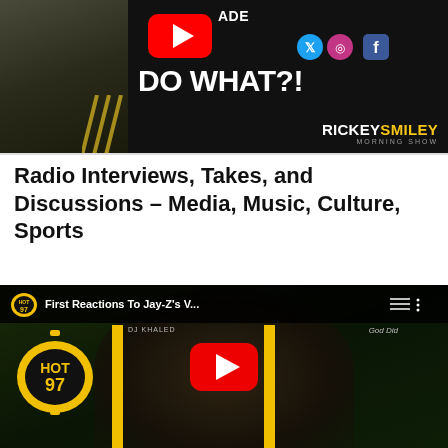[Figure (screenshot): Rickey Smiley Morning Show advertisement banner with a person in an olive jacket, YouTube play button, social media icons, and bold text 'DO WHAT?!' with 'RICKEY SMILEY MORNING SHOW' branding]
Radio Interviews, Takes, and Discussions – Media, Music, Culture, Sports
[Figure (screenshot): HOT 97 YouTube video thumbnail showing 'First Reactions To Jay-Z's V...' with DJ Khaled 'God Did' imagery, HOT 97 logo, and YouTube play button overlay]